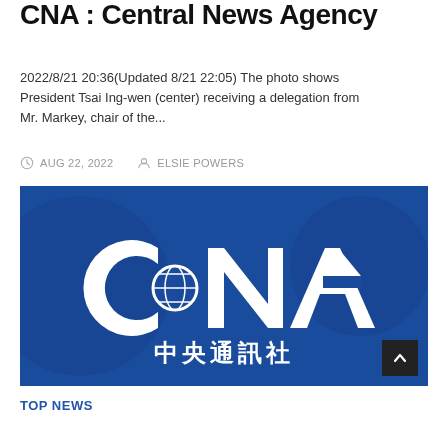CNA : Central News Agency
2022/8/21 20:36(Updated 8/21 22:05) The photo shows President Tsai Ing-wen (center) receiving a delegation from Mr. Markey, chair of the...
AUG 22, 2022   ELSIE POWERS
[Figure (logo): CNA (Central News Agency) logo on blue background: white CNA letters with globe icon and Chinese text 中央通訊社]
TOP NEWS